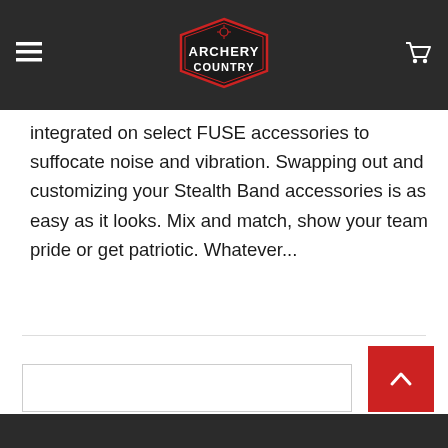[Figure (logo): Archery Country logo — hexagonal badge shape with red border, dark background, white text reading ARCHERY COUNTRY, small red crosshair icon at top]
integrated on select FUSE accessories to suffocate noise and vibration. Swapping out and customizing your Stealth Band accessories is as easy as it looks. Mix and match, show your team pride or get patriotic. Whatever...
$19.99
Quick View